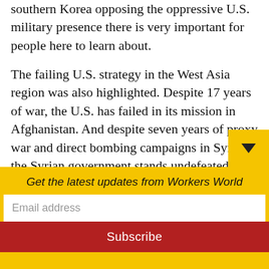southern Korea opposing the oppressive U.S. military presence there is very important for people here to learn about.

The failing U.S. strategy in the West Asia region was also highlighted. Despite 17 years of war, the U.S. has failed in its mission in Afghanistan. And despite seven years of proxy war and direct bombing campaigns in Syria, the Syrian government stands undefeated and grows more united with its neighbors. The danger of the continuing encirclement of Iran and increasing hostili…
Get the latest updates from Workers World
Email address
Subscribe